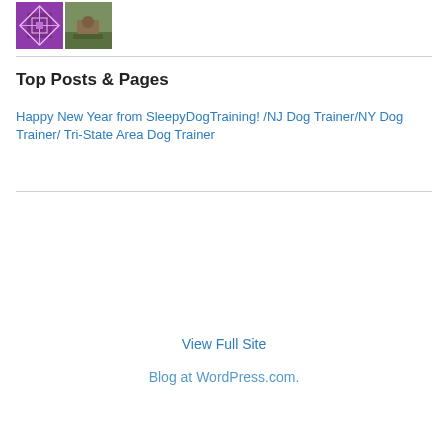[Figure (photo): Two thumbnail images side by side: a purple geometric/quilt pattern icon and a photo of a dog outdoors near a fence]
Top Posts & Pages
Happy New Year from SleepyDogTraining! /NJ Dog Trainer/NY Dog Trainer/ Tri-State Area Dog Trainer
View Full Site
Blog at WordPress.com.